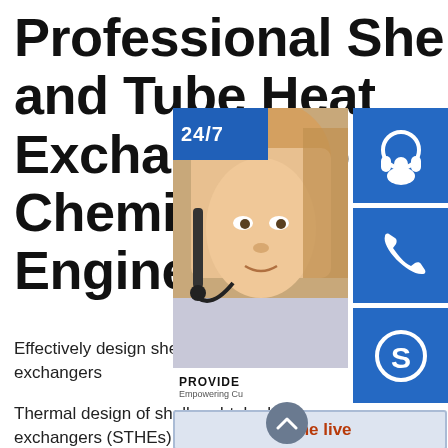Professional Shell and Tube Heat Exchanger for Chemical Engineering
Effectively design shell-and-tube heat exchangers
Thermal design of shell-and-tube heat exchangers (STHEs) is done by sophisticated computer software. However, a good understanding of the underlying principles of exchanger design is needed to use this software effectively. This article explains the basics of
[Figure (infographic): Customer support UI overlay showing 24/7 badge, headset icon, phone icon, Skype icon, a photo of a customer support agent, PROVIDE Empowering Customers text, and an online live button]